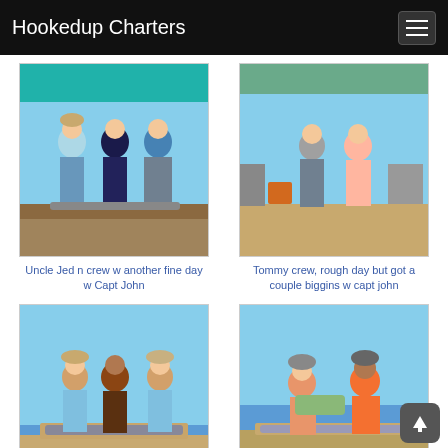Hookedup Charters
[Figure (photo): Group of people standing on a boat after a fishing trip, sunny day, teal canopy overhead]
Uncle Jed n crew w another fine day w Capt John
[Figure (photo): Two people standing on a dock/boat, water in background, covered area overhead]
Tommy crew, rough day but got a couple biggins w capt john
[Figure (photo): Three people holding up a catch of fish on a boat]
The Holley crew tearing it up w Capt
[Figure (photo): Two people posing on a boat with fish catch laid out in front]
Customer of Hookedup Charters